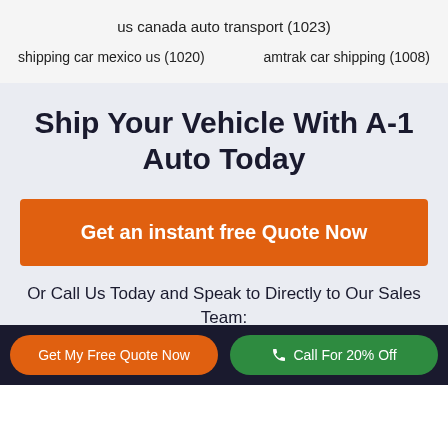us canada auto transport (1023)
shipping car mexico us (1020)
amtrak car shipping (1008)
Ship Your Vehicle With A-1 Auto Today
Get an instant free Quote Now
Or Call Us Today and Speak to Directly to Our Sales Team:
Get My Free Quote Now
Call For 20% Off